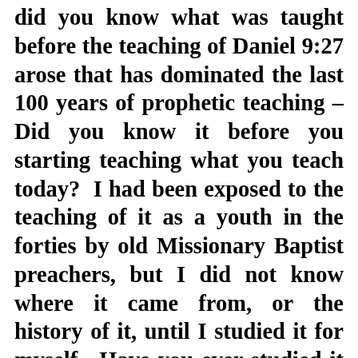did you know what was taught before the teaching of Daniel 9:27 arose that has dominated the last 100 years of prophetic teaching – Did you know it before you starting teaching what you teach today? I had been exposed to the teaching of it as a youth in the forties by old Missionary Baptist preachers, but I did not know where it came from, or the history of it, until I studied it for myself. Have you ever studied it for yourself? Please don't attack the personal integrity of all those men of God prior to 1740, as well as the